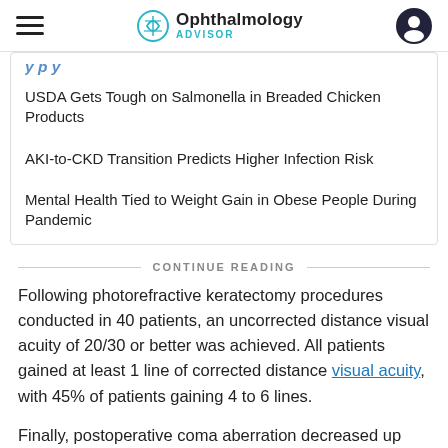Ophthalmology ADVISOR
USDA Gets Tough on Salmonella in Breaded Chicken Products
AKI-to-CKD Transition Predicts Higher Infection Risk
Mental Health Tied to Weight Gain in Obese People During Pandemic
CONTINUE READING
Following photorefractive keratectomy procedures conducted in 40 patients, an uncorrected distance visual acuity of 20/30 or better was achieved. All patients gained at least 1 line of corrected distance visual acuity, with 45% of patients gaining 4 to 6 lines.
Finally, postoperative coma aberration decreased up